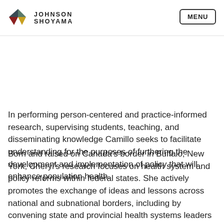JOHNSON SHOYAMA | MENU
career, she has served in most roles of the public service, including senior federal policy advisor, public health insurance program executive, program evaluator, policy analyst and advocate.
In performing person-centered and practice-informed research, supervising students, teaching, and disseminating knowledge Camillo seeks to facilitate understanding for the purposes of furthering the development and implementation of policy that will enhance population health.
Born and raised on Canada's border in Buffalo, New York, Cheryl's research focuses on health system and policy reforms within federal states. She actively promotes the exchange of ideas and lessons across national and subnational borders, including by convening state and provincial health systems leaders to discuss delivery system reforms and ways to